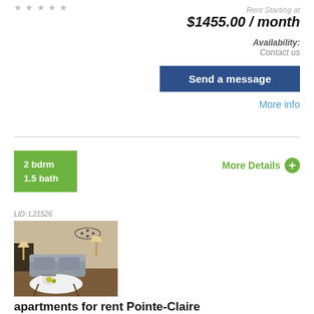★★★★★
Rent Starting at
$1455.00 / month
Availability:
Contact us
Send a message
More info
2 bdrm
1.5 bath
More Details
LID: L21526
[Figure (photo): Interior photo of an apartment living room with sofa, lamps, and dining table]
apartments for rent Pointe-Claire